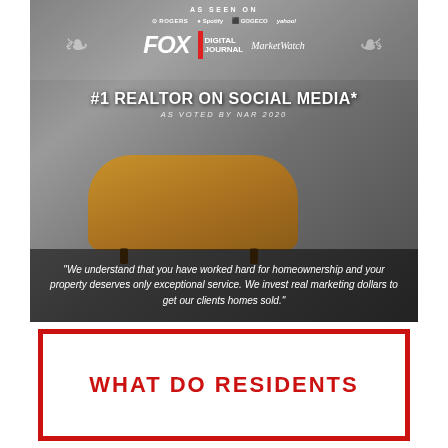[Figure (photo): Promotional real estate photo: man in dark suit sitting on golden velvet sofa in industrial space, with media logos overlay (FOX, Digital Journal, MarketWatch, Rogers, Spotify, Rogers, yahoo! finance) and #1 REALTOR ON SOCIAL MEDIA badge]
"We understand that you have worked hard for homeownership and your property deserves only exceptional service. We invest real marketing dollars to get our clients homes sold."
WHAT DO RESIDENTS